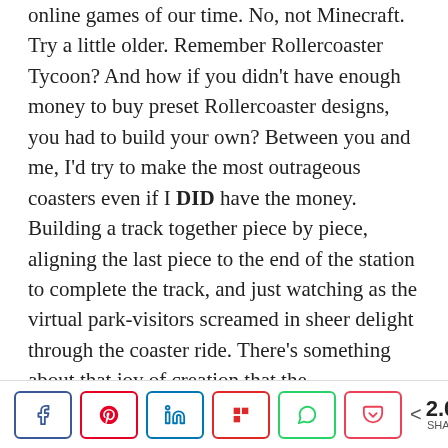online games of our time. No, not Minecraft. Try a little older. Remember Rollercoaster Tycoon? And how if you didn't have enough money to buy preset Rollercoaster designs, you had to build your own? Between you and me, I'd try to make the most outrageous coasters even if I DID have the money. Building a track together piece by piece, aligning the last piece to the end of the station to complete the track, and just watching as the virtual park-visitors screamed in sheer delight through the coaster ride. There's something about that joy of creation that the MagnetCubes captures. Part creation, part elaborate gravity trick, MagnetCubes lets you build your own ball-bearing racetrack using its modular setup. With an incredibly exhaustive variety of track-shapes that let you build the ball-bearing rollercoaster of your dreams and a transparent framework to hold your creation up, the
[Figure (infographic): Social share bar with Facebook, Pinterest, LinkedIn, Flipboard, WhatsApp, and Pocket buttons, and a share count of 2.0K SHARES]